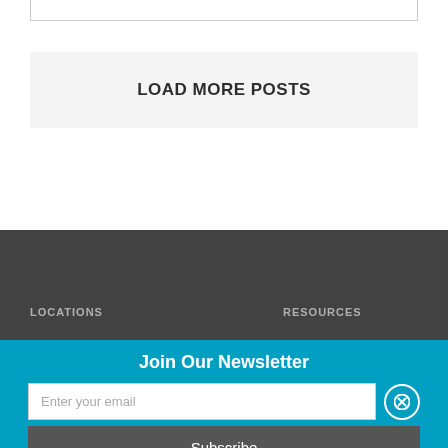LOAD MORE POSTS
LOCATIONS   RESOURCES
Join Our Newsletter
Enter your email
Subscribe